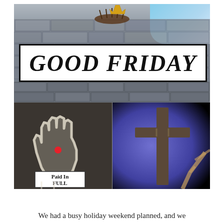[Figure (photo): Good Friday collage: top section shows stone wall/ruins with crown of thorns and golden crown against a sky background; a large white banner reads 'GOOD FRIDAY'; bottom-left shows a chalk-drawn hand with a red dot (nail) and a sign reading 'Paid In FULL'; bottom-right shows a wooden cross in blue/purple stage lighting.]
We had a busy holiday weekend planned, and we